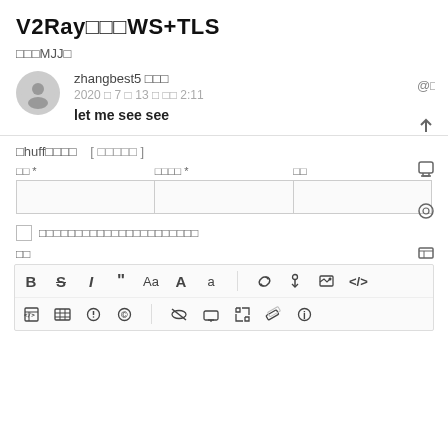V2Ray搭建WS+TLS
通知MJJ们
zhangbest5 楼主
2020 年 7 月 13 日 凌晨 2:11
let me see see
回复huff楼主   [ 取消回复 ]
姓名 *   电子邮件 *   网站
保存显示名称、电子邮件地址和网站
评论
[Figure (screenshot): Comment editor toolbar with formatting icons: Bold, Strikethrough, Italic, Quote, Aa, A, a, link, anchor, image, code; second row: code-block, table, clock, copyright, eye-slash, monitor, expand, pencil, info]